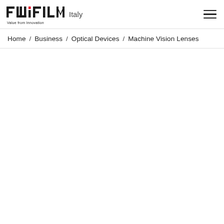FUJIFILM Value from Innovation  Italy
Home / Business / Optical Devices / Machine Vision Lenses